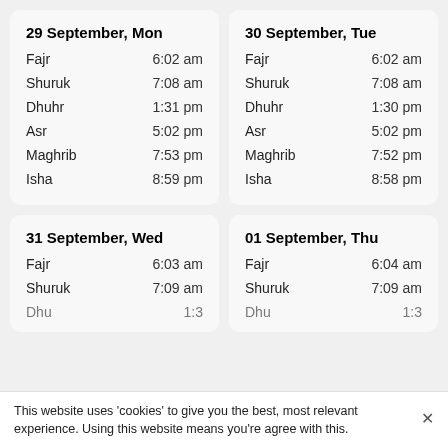| Prayer | Time |
| --- | --- |
| Fajr | 6:02 am |
| Shuruk | 7:08 am |
| Dhuhr | 1:31 pm |
| Asr | 5:02 pm |
| Maghrib | 7:53 pm |
| Isha | 8:59 pm |
| Prayer | Time |
| --- | --- |
| Fajr | 6:02 am |
| Shuruk | 7:08 am |
| Dhuhr | 1:30 pm |
| Asr | 5:02 pm |
| Maghrib | 7:52 pm |
| Isha | 8:58 pm |
| Prayer | Time |
| --- | --- |
| Fajr | 6:03 am |
| Shuruk | 7:09 am |
| Dhuhr | 1:30 pm (partial) |
| Prayer | Time |
| --- | --- |
| Fajr | 6:04 am |
| Shuruk | 7:09 am |
| Dhuhr | 1:30 pm (partial) |
This website uses 'cookies' to give you the best, most relevant experience. Using this website means you're agree with this.